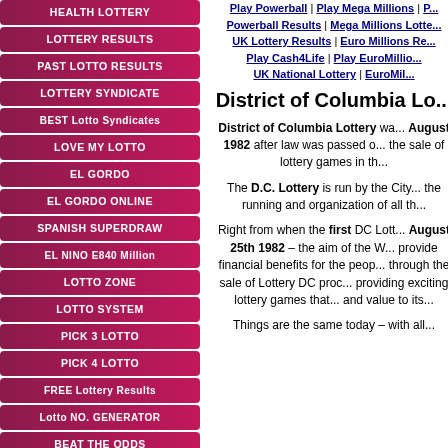HEALTH LOTTERY
LOTTERY RESULTS
PAST LOTTO RESULTS
LOTTERY SYNDICATE
BEST Lotto Syndicates
LOVE MY LOTTO
EL GORDO
EL GORDO ONLINE
SPANISH SUPERDRAW
EL NINO E840 Million
LOTTO ZONE
LOTTO SYSTEM
PICK 3 LOTTO
PICK 4 LOTTO
FREE Lottery Results
Lotto NO. GENERATOR
BEAT THE ODDS
LOTTERY OFFERS
Play Powerball | Play Mega Millions | P... | Powerball Results | Mega Millions Lotte... | UK Lottery Results | Euro Millions Re... | Play Cash4Life | Play EuroMillio... | UK National Lottery | EuroMil...
District of Columbia Lo...
District of Columbia Lottery was... August 1982 after law was passed o... the sale of lottery games in th...
The D.C. Lottery is run by the City... the running and organization of all th...
Right from when the first DC Lott... August 25th 1982 – the aim of the W... provide financial benefits for the peop... through the sale of Lottery DC proc... providing exciting lottery games that... and value to its...
Things are the same today – with all...